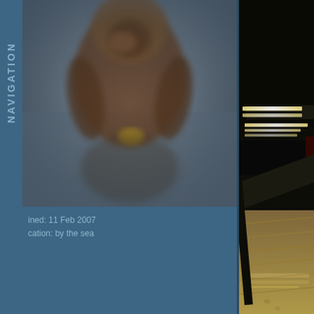[Figure (photo): A blurry close-up photograph of a monkey or primate, set against a grayish-blue background, occupying the upper-left portion of the page.]
NAVIGATION
ined: 11 Feb 2007
cation: by the sea
[Figure (photo): A photograph of a subway escalator or moving walkway scene at night, with bright fluorescent lights illuminating metal steps and sandy/concrete floor, on the right side of the page.]